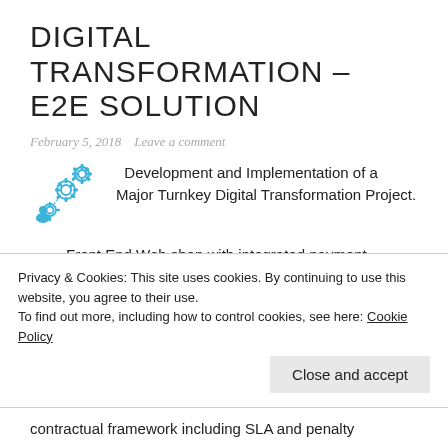DIGITAL TRANSFORMATION – E2E SOLUTION
February 5, 2018   Leave a comment
[Figure (illustration): Blue digital transformation icon with gears and connectivity symbols]
Development and Implementation of a Major Turnkey Digital Transformation Project.
Front End Web shop with integrated payment solutions (including IVR), web chat, inventory management, workforce management and carrier management systems.
Privacy & Cookies: This site uses cookies. By continuing to use this website, you agree to their use.
To find out more, including how to control cookies, see here: Cookie Policy
contractual framework including SLA and penalty